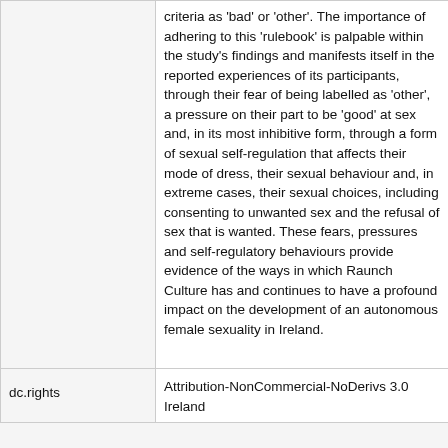criteria as 'bad' or 'other'. The importance of adhering to this 'rulebook' is palpable within the study's findings and manifests itself in the reported experiences of its participants, through their fear of being labelled as 'other', a pressure on their part to be 'good' at sex and, in its most inhibitive form, through a form of sexual self-regulation that affects their mode of dress, their sexual behaviour and, in extreme cases, their sexual choices, including consenting to unwanted sex and the refusal of sex that is wanted. These fears, pressures and self-regulatory behaviours provide evidence of the ways in which Raunch Culture has and continues to have a profound impact on the development of an autonomous female sexuality in Ireland.
| Field | Value |
| --- | --- |
| dc.rights | Attribution-NonCommercial-NoDerivs 3.0 Ireland |